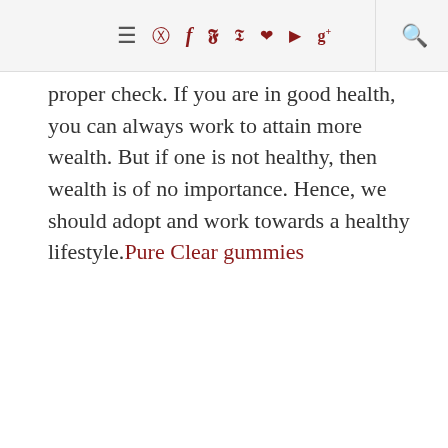Navigation bar with menu, social icons (instagram, facebook, twitter, pinterest, heart, youtube, google+), and search
proper check. If you are in good health, you can always work to attain more wealth. But if one is not healthy, then wealth is of no importance. Hence, we should adopt and work towards a healthy lifestyle.Pure Clear gummies
Reply
BISWAJIT SAHOO
Sunday, April 10, 2022
Mental Health Vs Physical Health: Here's Everything You Need To Know